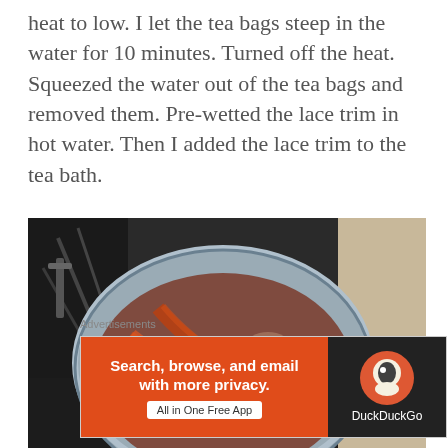heat to low. I let the tea bags steep in the water for 10 minutes. Turned off the heat. Squeezed the water out of the tea bags and removed them. Pre-wetted the lace trim in hot water. Then I added the lace trim to the tea bath.
[Figure (photo): A silver saucepan on a gas stove containing brownish-red liquid (tea bath) with orange/red lace trim submerged in it. A granite countertop is visible to the right.]
Advertisements
[Figure (screenshot): DuckDuckGo advertisement banner. Left orange section says 'Search, browse, and email with more privacy. All in One Free App'. Right dark section shows DuckDuckGo logo and brand name.]